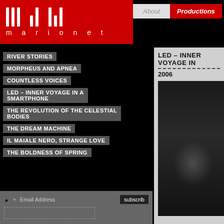[Figure (logo): Marionet theatre company logo: white vertical lines on red background with 'marionet' text in white]
About | Productions
RIVER STORIES
MORPHEUS AND APNEA
COUNTLESS VOICES
LED – INNER VOYAGE IN A SMARTPHONE
THE REVOLUTION OF THE CELESTIAL BODIES
THE DREAM MACHINE
IL MAIALE NERO, STRANGE LOVE
THE BOLDNESS OF SPRING
LED – INNER VOYAGE IN
2006
[Figure (photo): Black and white performance photo of a performer in white clothing with outstretched hand, seated among tangled wires/cables on stage]